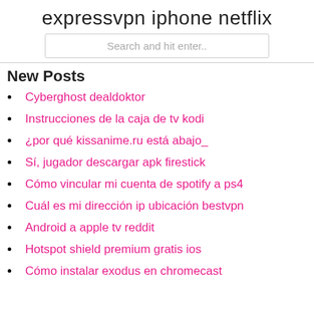expressvpn iphone netflix
Search and hit enter..
New Posts
Cyberghost dealdoktor
Instrucciones de la caja de tv kodi
¿por qué kissanime.ru está abajo_
Sí, jugador descargar apk firestick
Cómo vincular mi cuenta de spotify a ps4
Cuál es mi dirección ip ubicación bestvpn
Android a apple tv reddit
Hotspot shield premium gratis ios
Cómo instalar exodus en chromecast